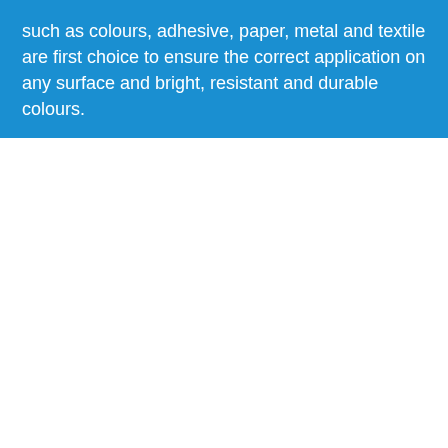such as colours, adhesive, paper, metal and textile are first choice to ensure the correct application on any surface and bright, resistant and durable colours.